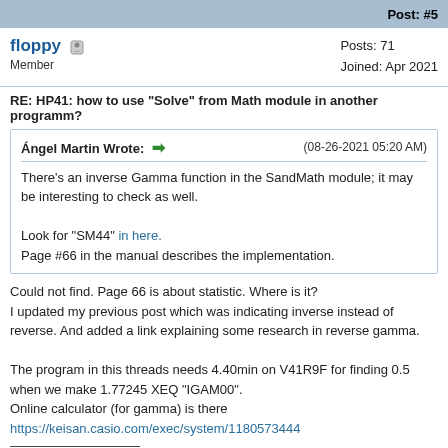Post: #5
floppy  Member  Posts: 71  Joined: Apr 2021
RE: HP41: how to use "Solve" from Math module in another programm?
Ángel Martin Wrote: ➡  (08-26-2021 05:20 AM)
There's an inverse Gamma function in the SandMath module; it may be interesting to check as well.

Look for "SM44" in here.
Page #66 in the manual describes the implementation.
Could not find. Page 66 is about statistic. Where is it?
I updated my previous post which was indicating inverse instead of reverse. And added a link explaining some research in reverse gamma.

The program in this threads needs 4.40min on V41R9F for finding 0.5 when we make 1.77245 XEQ "IGAM00".
Online calculator (for gamma) is there
https://keisan.casio.com/exec/system/1180573444
HP71 & Multimod, HP41CV/CX & Nov64d, PILBOX, HP-IL-